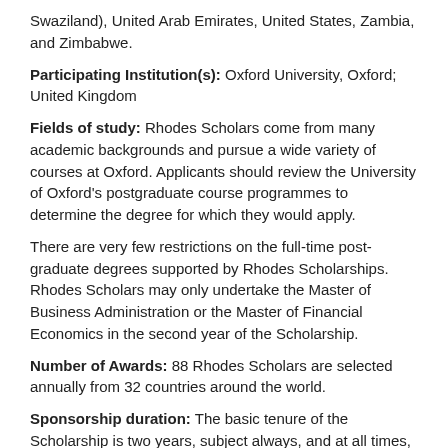Swaziland), United Arab Emirates, United States, Zambia, and Zimbabwe.
Participating Institution(s): Oxford University, Oxford; United Kingdom
Fields of study: Rhodes Scholars come from many academic backgrounds and pursue a wide variety of courses at Oxford. Applicants should review the University of Oxford's postgraduate course programmes to determine the degree for which they would apply.
There are very few restrictions on the full-time post-graduate degrees supported by Rhodes Scholarships. Rhodes Scholars may only undertake the Master of Business Administration or the Master of Financial Economics in the second year of the Scholarship.
Number of Awards: 88 Rhodes Scholars are selected annually from 32 countries around the world.
Sponsorship duration: The basic tenure of the Scholarship is two years, subject always, and at all times, to satisfactory academic performance and personal conduct.
At the discretion of the Trustees, the Scholarship may be extended for a third year for those who take a recognized route to the DPhil.